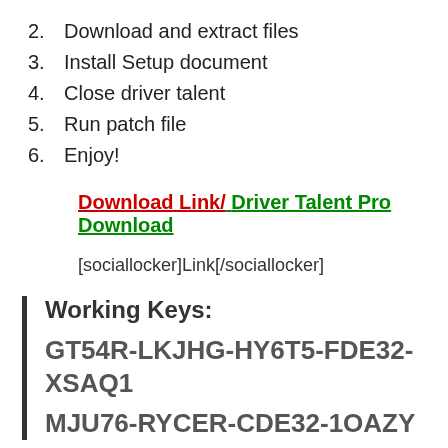2.  Download and extract files
3.  Install Setup document
4.  Close driver talent
5.  Run patch file
6.  Enjoy!
Download Link/ Driver Talent Pro Download
[sociallocker]Link[/sociallocker]
Working Keys:
GT54R-LKJHG-HY6T5-FDE32-XSAQ1
MJU76-RYCER-CDE32-1OAZY